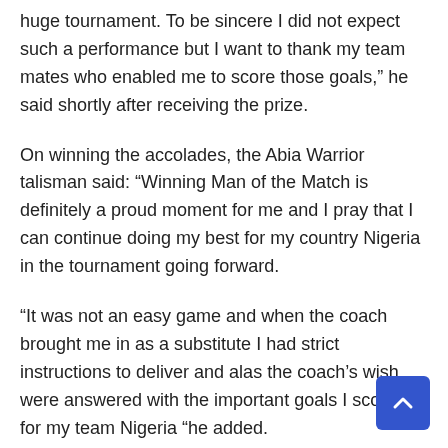huge tournament. To be sincere I did not expect such a performance but I want to thank my team mates who enabled me to score those goals,” he said shortly after receiving the prize.
On winning the accolades, the Abia Warrior talisman said: “Winning Man of the Match is definitely a proud moment for me and I pray that I can continue doing my best for my country Nigeria in the tournament going forward.
“It was not an easy game and when the coach brought me in as a substitute I had strict instructions to deliver and alas the coach’s wish were answered with the important goals I scored for my team Nigeria “he added.